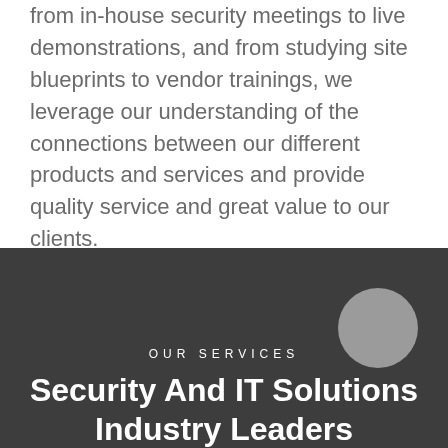from in-house security meetings to live demonstrations, and from studying site blueprints to vendor trainings, we leverage our understanding of the connections between our different products and services and provide quality service and great value to our clients.
OUR SERVICES
Security And IT Solutions Industry Leaders